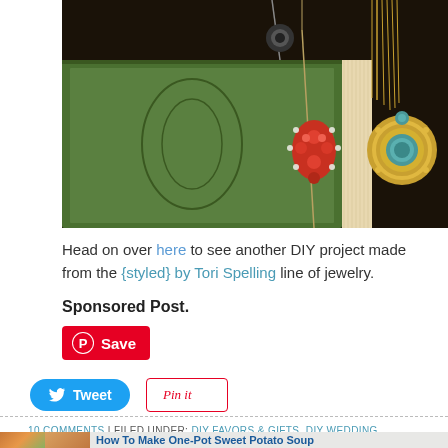[Figure (photo): Close-up of an old green hardcover book with jewelry draped over it — a red gemstone teardrop pendant and a turquoise/gold circular pendant, against a dark background.]
Head on over here to see another DIY project made from the {styled} by Tori Spelling line of jewelry.
Sponsored Post.
[Figure (other): Pinterest Save button (red with Pinterest logo)]
[Figure (other): Tweet button (blue) and Pin it button (red border)]
10 COMMENTS  |  FILED UNDER: DIY FAVORS & GIFTS, DIY WEDDING
[Figure (photo): Ad thumbnail showing bowl of sweet potato soup]
How To Make One-Pot Sweet Potato Soup